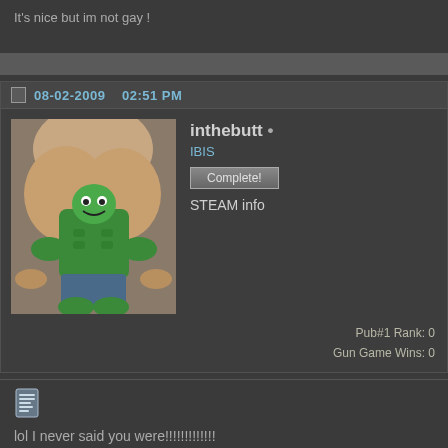It's nice but im not gay !
[Figure (screenshot): Forum post screenshot showing user 'inthebutt' with a composite/meme image avatar, dated 08-02-2009 02:51 PM, with IBIS group tag, Complete! button, STEAM info link, and stats showing Pub#1 Rank: 0, Gun Game Wins: 0]
lol I never said you were!!!!!!!!!!!!!